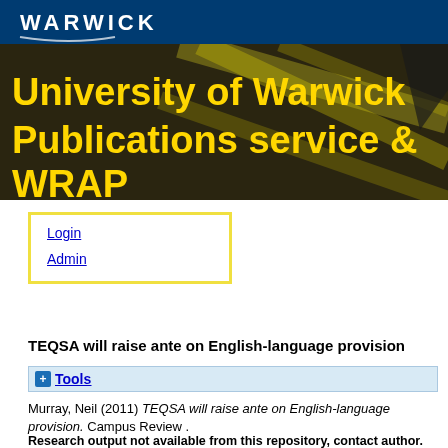[Figure (screenshot): University of Warwick banner with logo and yellow title text 'University of Warwick Publications service & WRAP' on dark background with yellow highlighter pen image]
Login
Admin
TEQSA will raise ante on English-language provision
+ Tools
Murray, Neil (2011) TEQSA will raise ante on English-language provision. Campus Review .
Research output not available from this repository, contact author. Official URL: http://www.campusreview.com.au/?s=Murray%2C+Neil&s...